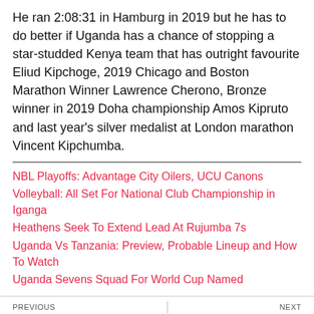He ran 2:08:31 in Hamburg in 2019 but he has to do better if Uganda has a chance of stopping a star-studded Kenya team that has outright favourite Eliud Kipchoge, 2019 Chicago and Boston Marathon Winner Lawrence Cherono, Bronze winner in 2019 Doha championship Amos Kipruto and last year's silver medalist at London marathon Vincent Kipchumba.
NBL Playoffs: Advantage City Oilers, UCU Canons
Volleyball: All Set For National Club Championship in Iganga
Heathens Seek To Extend Lead At Rujumba 7s
Uganda Vs Tanzania: Preview, Probable Lineup and How To Watch
Uganda Sevens Squad For World Cup Named
[Figure (infographic): Purple advertisement banner for Kagwirawo betting site. Text: 'BET GRABS' on left, 'BET RX' logo in center, 'TO GET YOUR FREE BET LOG ONTO: WWW.KAGWIRAWO.CO.UG' on right with help call number.]
TOP STORIES